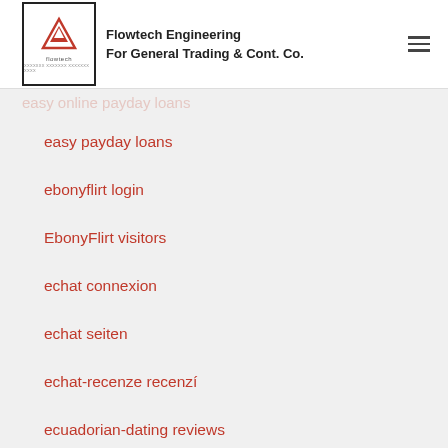Flowtech Engineering For General Trading & Cont. Co.
easy approval installment loans
easy money payday loans
easy online payday loans
easy payday loans
ebonyflirt login
EbonyFlirt visitors
echat connexion
echat seiten
echat-recenze recenzí
ecuadorian-dating reviews
edarling gratuit
eDarling review
edinburg escort service
eharmony avis